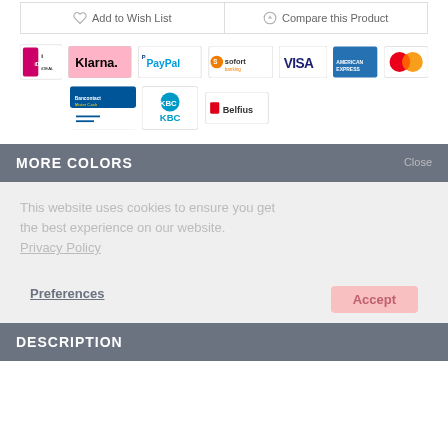Add to Wish List
Compare this Product
[Figure (logo): Payment method logos: iDEAL, Klarna, PayPal, Sofort, VISA, American Express, Mastercard, Bancontact/Mister Cash, KBC, Belfius]
MORE COLORS
This website uses cookies to ensure you get the best experience on our website. Privacy Policy
Preferences    Accept
DESCRIPTION